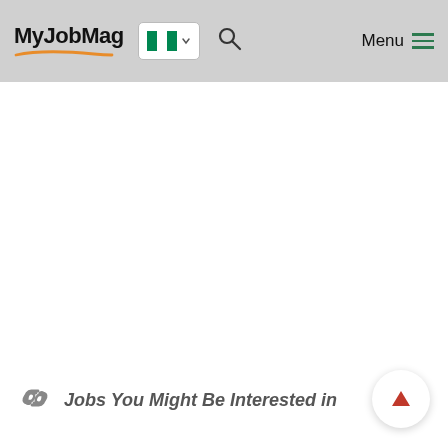MyJobMag — Menu navigation with Nigeria flag and search icon
Jobs You Might Be Interested in